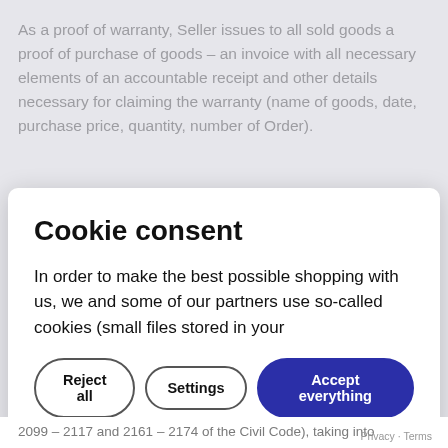As a proof of warranty, Seller issues to all sold goods a proof of purchase of goods – an invoice with all necessary elements of an accountable receipt and other details necessary for claiming the warranty (name of goods, date, purchase price, quantity, number of Order).
The warranty period is 24 months and starts to run on the day of the goods being taken over by the Buyer – on the day stated on the invoice.
Cookie consent
In order to make the best possible shopping with us, we and some of our partners use so-called cookies (small files stored in your
Reject all
Settings
Accept everything
2099 – 2117 and 2161 – 2174 of the Civil Code), taking into